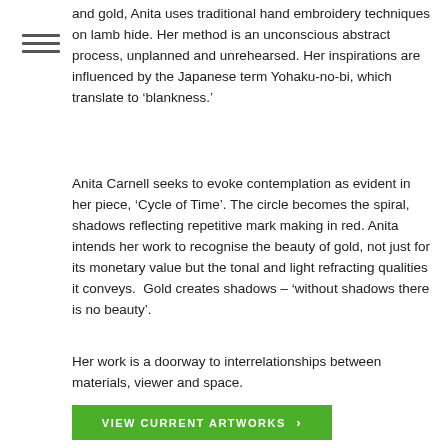and gold, Anita uses traditional hand embroidery techniques on lamb hide. Her method is an unconscious abstract process, unplanned and unrehearsed. Her inspirations are influenced by the Japanese term Yohaku-no-bi, which translate to ‘blankness.’
Anita Carnell seeks to evoke contemplation as evident in her piece, ‘Cycle of Time’. The circle becomes the spiral, shadows reflecting repetitive mark making in red. Anita intends her work to recognise the beauty of gold, not just for its monetary value but the tonal and light refracting qualities it conveys.  Gold creates shadows – ‘without shadows there is no beauty’.
Her work is a doorway to interrelationships between materials, viewer and space.
VIEW CURRENT ARTWORKS ›